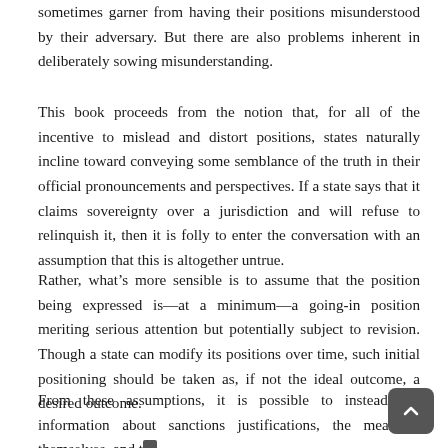sometimes garner from having their positions misunderstood by their adversary. But there are also problems inherent in deliberately sowing misunderstanding.
This book proceeds from the notion that, for all of the incentive to mislead and distort positions, states naturally incline toward conveying some semblance of the truth in their official pronouncements and perspectives. If a state says that it claims sovereignty over a jurisdiction and will refuse to relinquish it, then it is folly to enter the conversation with an assumption that this is altogether untrue.
Rather, what’s more sensible is to assume that the position being expressed is—at a minimum—a going-in position meriting serious attention but potentially subject to revision. Though a state can modify its positions over time, such initial positioning should be taken as, if not the ideal outcome, a desired outcome.
From these assumptions, it is possible to instead use information about sanctions justifications, the measures themselves, and the perspectives of the sanctioned state to give an adequate, if rough,